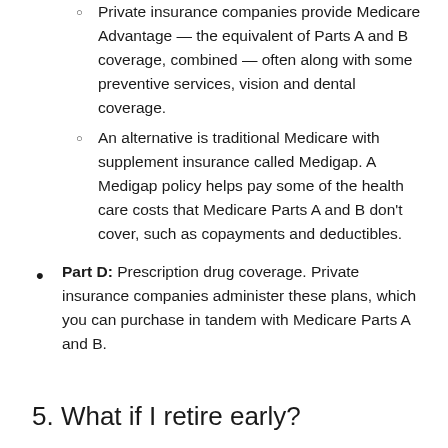Private insurance companies provide Medicare Advantage — the equivalent of Parts A and B coverage, combined — often along with some preventive services, vision and dental coverage.
An alternative is traditional Medicare with supplement insurance called Medigap. A Medigap policy helps pay some of the health care costs that Medicare Parts A and B don't cover, such as copayments and deductibles.
Part D: Prescription drug coverage. Private insurance companies administer these plans, which you can purchase in tandem with Medicare Parts A and B.
5. What if I retire early?